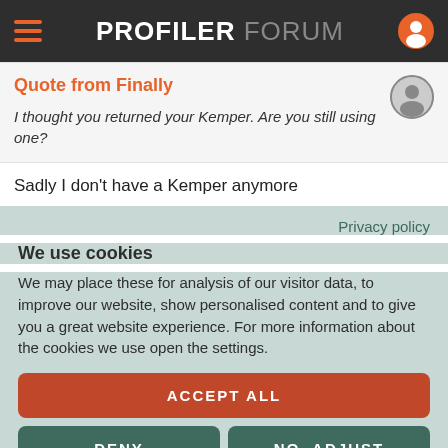PROFILER FORUM
Quote from Finally
I thought you returned your Kemper. Are you still using one?
Sadly I don't have a Kemper anymore
Privacy policy
We use cookies
We may place these for analysis of our visitor data, to improve our website, show personalised content and to give you a great website experience. For more information about the cookies we use open the settings.
ACCEPT ALL
DENY
NO, ADJUST